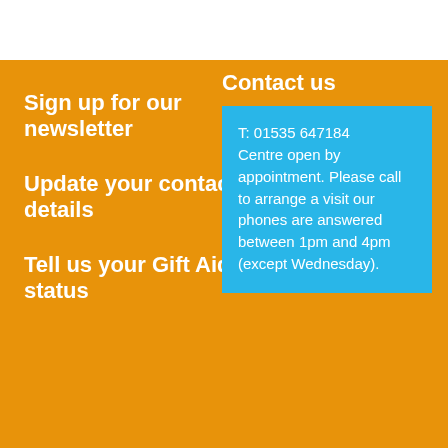Sign up for our newsletter
Update your contact details
Tell us your Gift Aid status
Contact us
T: 01535 647184 Centre open by appointment. Please call to arrange a visit our phones are answered between 1pm and 4pm (except Wednesday).